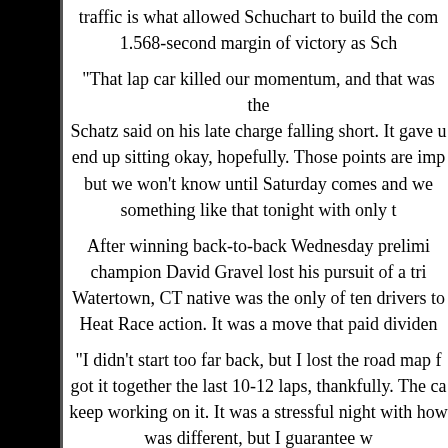traffic is what allowed Schuchart to build the comfortable 1.568-second margin of victory as Scha...
"That lap car killed our momentum, and that was the... Schatz said on his late charge falling short. It gave u... end up sitting okay, hopefully. Those points are imp... but we won't know until Saturday comes and we... something like that tonight with only t...
After winning back-to-back Wednesday prelimi... champion David Gravel lost his pursuit of a tri... Watertown, CT native was the only of ten drivers to... Heat Race action. It was a move that paid dividen...
"I didn't start too far back, but I lost the road map f... got it together the last 10-12 laps, thankfully. The ca... keep working on it. It was a stressful night with how... was different, but I guarantee w...
After offering a hotly contested battle for secon... McFadden, of Alice Springs, NT, AUS, slippe...
Rounding out the top-10 was Aaron Reutzel in the ... Cole Macedo in the Dietz Motorsports #14J, Corey... Crockett in h...